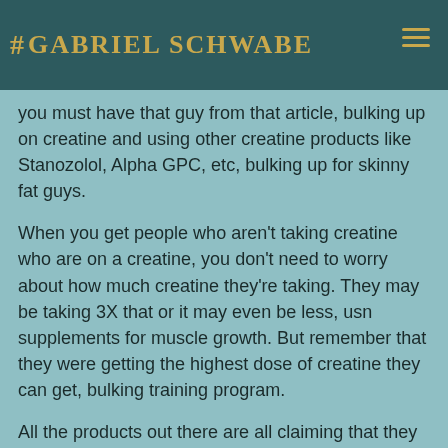# Gabriel Schwabe
...you must have that guy from that article, bulking up on creatine and using other creatine products like Stanozolol, Alpha GPC, etc, bulking up for skinny fat guys.
When you get people who aren't taking creatine who are on a creatine, you don't need to worry about how much creatine they're taking. They may be taking 3X that or it may even be less, usn supplements for muscle growth. But remember that they were getting the highest dose of creatine they can get, bulking training program.
All the products out there are all claiming that they are best to use, best steroid cycle for bulking and cutting. But even if they are great supplements, you don't need those when you are on a low body fat diet and doing well.